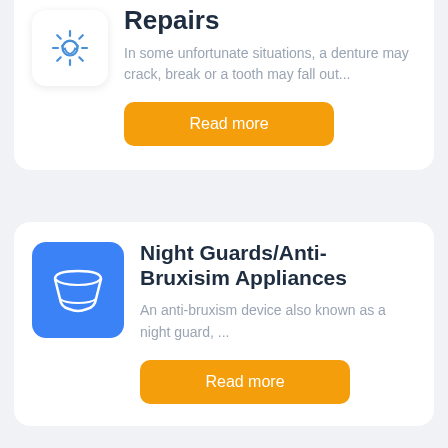[Figure (illustration): White card with gear/settings icon in blue outline, partially visible at top]
Repairs
In some unfortunate situations, a denture may crack, break or a tooth may fall out...
[Figure (illustration): Orange Read more button]
[Figure (illustration): Blue rounded square icon with white mouth guard/night guard outline icon]
Night Guards/Anti-Bruxisim Appliances
An anti-bruxism device also known as a night guard, ...
[Figure (illustration): Orange Read more button]